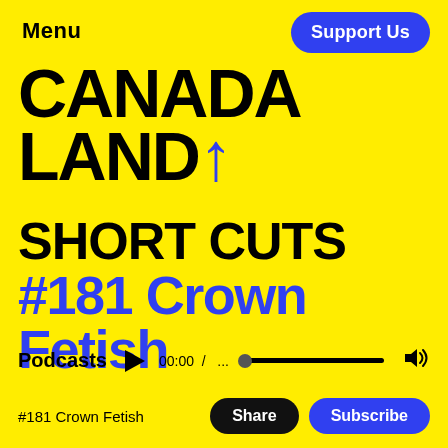Menu
Support Us
CANADA LAND↑
SHORT CUTS
#181 Crown Fetish
Podcasts  ▶  00:00 / ...  [progress bar]  🔊
#181 Crown Fetish
Share
Subscribe